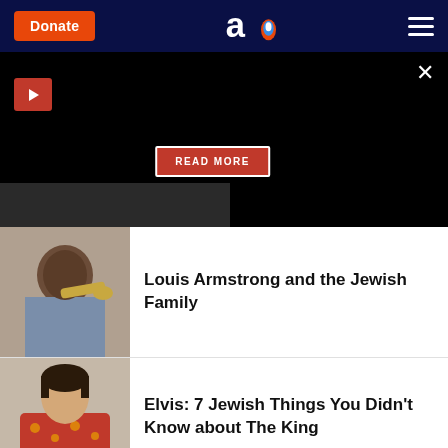Donate | Aish.com logo | Menu
[Figure (screenshot): Black video panel with play button, READ MORE button overlay, and film strip at bottom]
[Figure (photo): Louis Armstrong playing trumpet]
Louis Armstrong and the Jewish Family
[Figure (photo): Elvis Presley in a red floral shirt]
Elvis: 7 Jewish Things You Didn't Know about The King